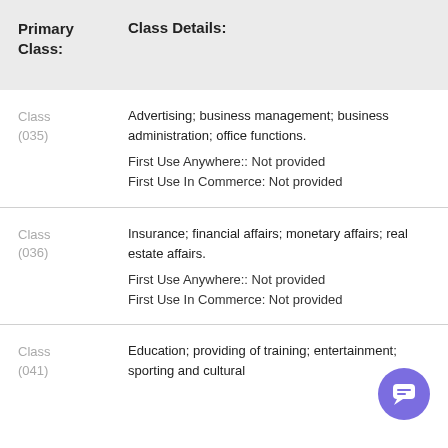|  |  |
| --- | --- |
| Primary
Class: | Class Details: |
| Class
(035) | Advertising; business management; business administration; office functions.
First Use Anywhere:: Not provided
First Use In Commerce: Not provided |
| Class
(036) | Insurance; financial affairs; monetary affairs; real estate affairs.
First Use Anywhere:: Not provided
First Use In Commerce: Not provided |
| Class
(041) | Education; providing of training; entertainment; sporting and cultural... |